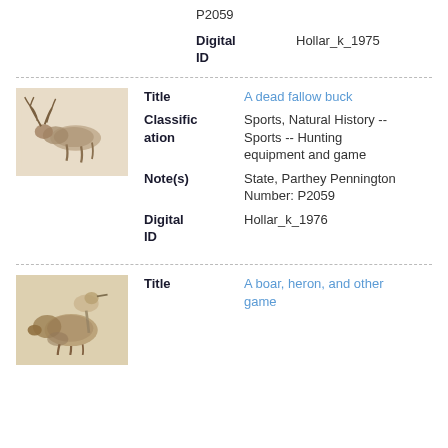Pennington Number: P2059
Digital ID: Hollar_k_1975
[Figure (illustration): Sketch of a dead fallow buck, a deer lying on its side with antlers visible, in sepia/brown tones]
Title: A dead fallow buck
Classification: Sports, Natural History -- Sports -- Hunting equipment and game
Note(s): State, Parthey Pennington Number: P2059
Digital ID: Hollar_k_1976
[Figure (illustration): Sketch of a boar, heron, and other game animals grouped together, in sepia/brown tones]
Title: A boar, heron, and other game